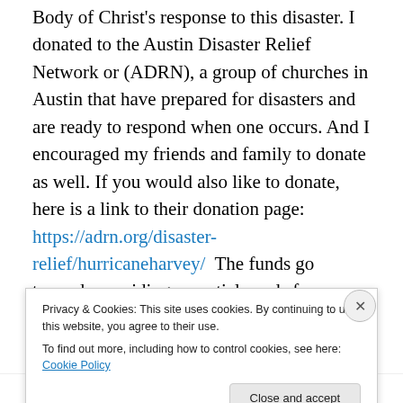Body of Christ's response to this disaster. I donated to the Austin Disaster Relief Network or (ADRN), a group of churches in Austin that have prepared for disasters and are ready to respond when one occurs. And I encouraged my friends and family to donate as well. If you would also like to donate, here is a link to their donation page: https://adrn.org/disaster-relief/hurricaneharvey/  The funds go towards providing essential needs for families affected by disasters and towards long-term care and rebuilding.
I also had the chance to join ADRN at a nearby Red Cross
Privacy & Cookies: This site uses cookies. By continuing to use this website, you agree to their use.
To find out more, including how to control cookies, see here: Cookie Policy
Close and accept
hurricanes.org